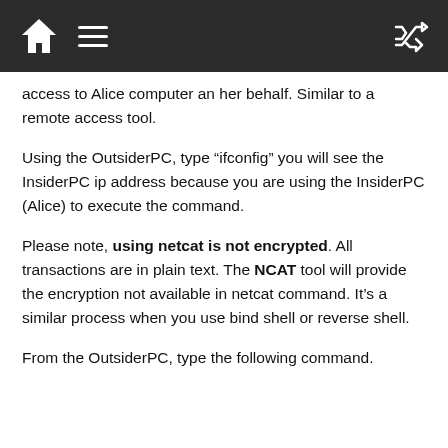Navigation bar with home, menu, and shuffle icons
access to Alice computer an her behalf. Similar to a remote access tool.
Using the OutsiderPC, type “ifconfig” you will see the InsiderPC ip address because you are using the InsiderPC (Alice) to execute the command.
Please note, using netcat is not encrypted. All transactions are in plain text. The NCAT tool will provide the encryption not available in netcat command. It’s a similar process when you use bind shell or reverse shell.
From the OutsiderPC, type the following command.
[Figure (other): Advertisement banner: HC logo, Ashburn OPEN 9AM-6PM, 44110 Ashburn Shopping Plaza 1., with blue navigation arrow icon]